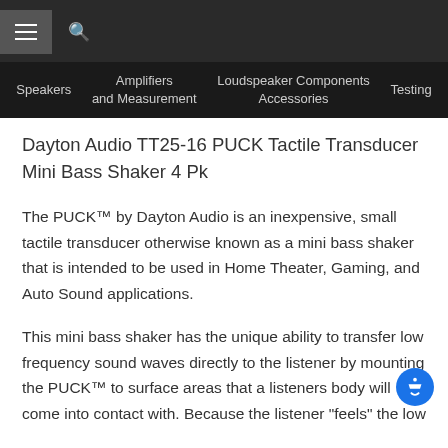Speakers | Amplifiers and Measurement | Loudspeaker Components Accessories | Testing
Dayton Audio TT25-16 PUCK Tactile Transducer Mini Bass Shaker 4 Pk
The PUCK™ by Dayton Audio is an inexpensive, small tactile transducer otherwise known as a mini bass shaker that is intended to be used in Home Theater, Gaming, and Auto Sound applications.
This mini bass shaker has the unique ability to transfer low frequency sound waves directly to the listener by mounting the PUCK™ to surface areas that a listeners body will come into contact with. Because the listener "feels" the low